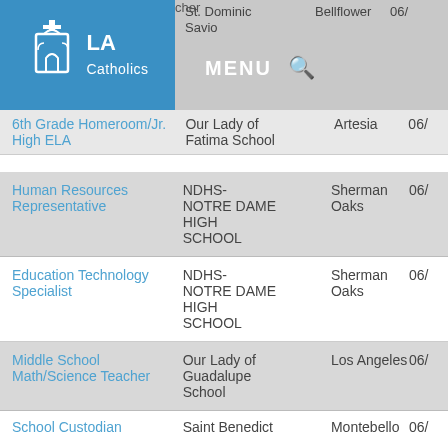LA Catholics — MENU navigation header with logo
| Job Title | School | City | Date |
| --- | --- | --- | --- |
| 6th Grade Homeroom/Jr. High ELA | Our Lady of Fatima School | Artesia | 06/ |
| Human Resources Representative | NDHS-NOTRE DAME HIGH SCHOOL | Sherman Oaks | 06/ |
| Education Technology Specialist | NDHS-NOTRE DAME HIGH SCHOOL | Sherman Oaks | 06/ |
| Middle School Math/Science Teacher | Our Lady of Guadalupe School | Los Angeles | 06/ |
| School Custodian | Saint Benedict | Montebello | 06/ |